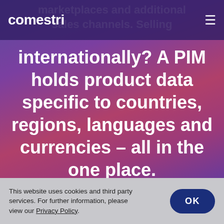comestri
marketplaces and additional sales channels. Selling
internationally? A PIM holds product data specific to countries, regions, languages and currencies – all in the one place.
This website uses cookies and third party services. For further information, please view our Privacy Policy.